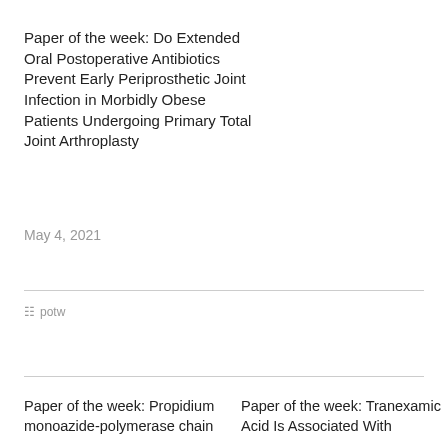Paper of the week: Do Extended Oral Postoperative Antibiotics Prevent Early Periprosthetic Joint Infection in Morbidly Obese Patients Undergoing Primary Total Joint Arthroplasty
May 4, 2021
potw
Paper of the week: Propidium monoazide-polymerase chain
Paper of the week: Tranexamic Acid Is Associated With